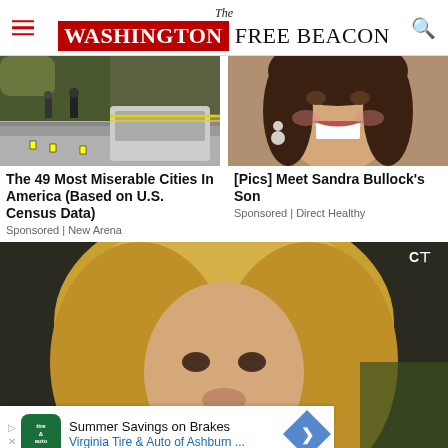The Washington Free Beacon
[Figure (photo): Crime scene photo with police tape and investigators near a car]
[Figure (photo): Sandra Bullock smiling, portrait photo]
The 49 Most Miserable Cities In America (Based on U.S. Census Data)
Sponsored | New Arena
[Pics] Meet Sandra Bullock's Son
Sponsored | Direct Healthy
[Figure (photo): Blonde woman close-up portrait photo]
Summer Savings on Brakes
Virginia Tire & Auto of Ashburn ...